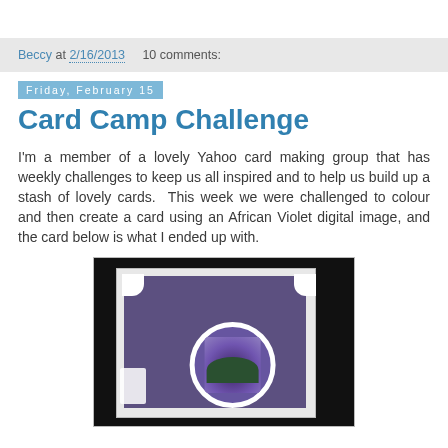Beccy at 2/16/2013    10 comments:
Friday, February 15
Card Camp Challenge
I'm a member of a lovely Yahoo card making group that has weekly challenges to keep us all inspired and to help us build up a stash of lovely cards.  This week we were challenged to colour and then create a card using an African Violet digital image, and the card below is what I ended up with.
[Figure (photo): A handmade card with a purple background, white decorative border with scroll corners, and a circular medallion featuring African Violet flowers, placed on a black background.]